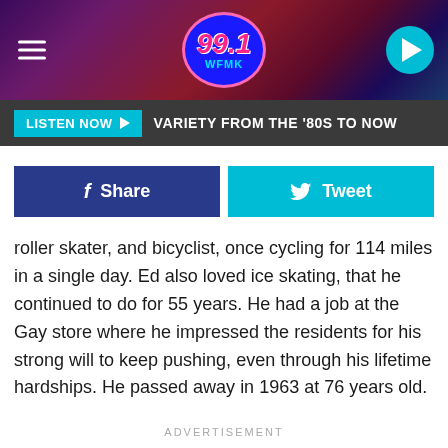[Figure (logo): 99.1 WFMK radio station header with logo, hamburger menu, and play button]
LISTEN NOW ▶  VARIETY FROM THE '80S TO NOW
[Figure (infographic): Facebook Share button and Twitter Tweet button]
roller skater, and bicyclist, once cycling for 114 miles in a single day. Ed also loved ice skating, that he continued to do for 55 years. He had a job at the Gay store where he impressed the residents for his strong will to keep pushing, even through his lifetime hardships. He passed away in 1963 at 76 years old.
ADVERTISEMENT